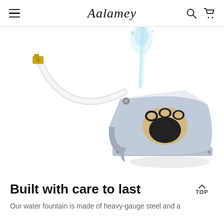Aalamey
[Figure (photo): A pet water fountain device with a blue/grey metal base featuring a paw print graphic. A white hose connects to a brass fitting at the top, and water sprays upward from a nozzle on the device.]
Built with care to last
Our water fountain is made of heavy-gauge steel and a